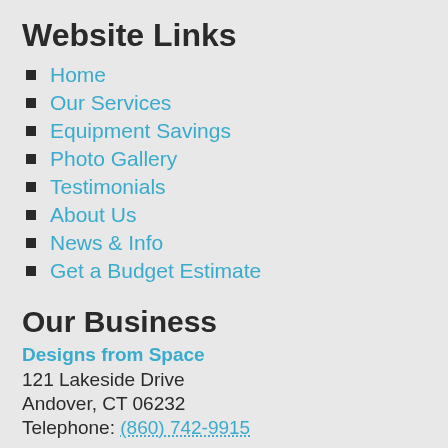Website Links
Home
Our Services
Equipment Savings
Photo Gallery
Testimonials
About Us
News & Info
Get a Budget Estimate
Our Business
Designs from Space
121 Lakeside Drive
Andover, CT 06232
Telephone: (860) 742-9915
Business Hours